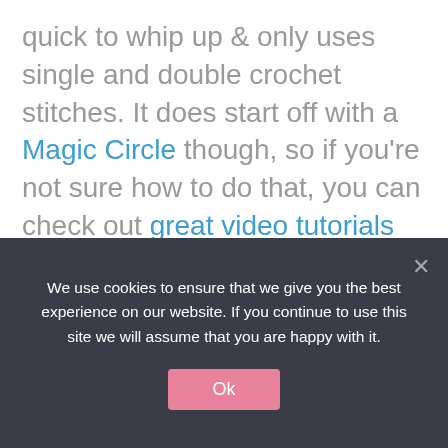quick to whip up & only uses single and double crochet stitches. It does start off with a Magic Circle though, so if you're not sure how to do that, you can check out great video tutorials here.

For this pattern you will need funfur yarn 50 grams/100 meters in Yellow, crochet hook size 6.0
We use cookies to ensure that we give you the best experience on our website. If you continue to use this site we will assume that you are happy with it.